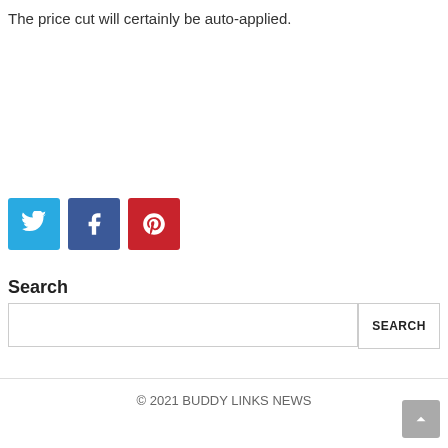The price cut will certainly be auto-applied.
[Figure (other): Social media share buttons: Twitter (blue), Facebook (dark blue), Pinterest (red)]
Search
[Figure (other): Search input field with SEARCH button]
© 2021 BUDDY LINKS NEWS